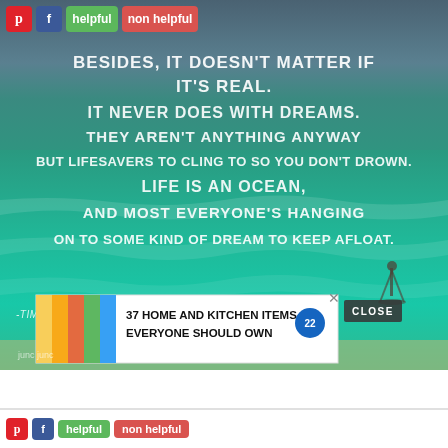[Figure (photo): Ocean/sea background with quote text overlay. Text reads: Besides, it doesn't matter if it's real. It never does with dreams. They aren't anything anyway but lifesavers to cling to so you don't drown. Life is an ocean, and most everyone's hanging on to some kind of dream to keep afloat. -Tim Tharp, The Spectacular N...]
helpful
non helpful
37 HOME AND KITCHEN ITEMS EVERYONE SHOULD OWN
CLOSE